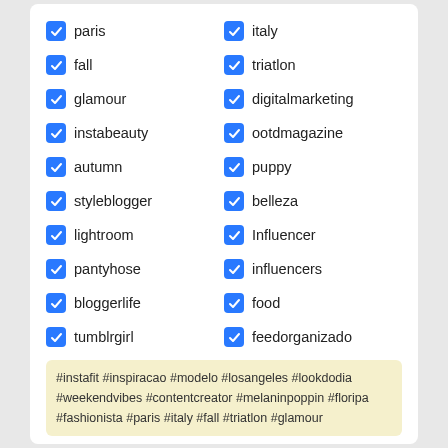paris
italy
fall
triatlon
glamour
digitalmarketing
instabeauty
ootdmagazine
autumn
puppy
styleblogger
belleza
lightroom
Influencer
pantyhose
influencers
bloggerlife
food
tumblrgirl
feedorganizado
#instafit #inspiracao #modelo #losangeles #lookdodia #weekendvibes #contentcreator #melaninpoppin #floripa #fashionista #paris #italy #fall #triatlon #glamour